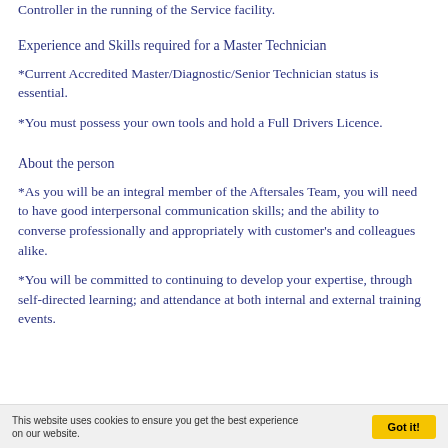Controller in the running of the Service facility.
Experience and Skills required for a Master Technician
*Current Accredited Master/Diagnostic/Senior Technician status is essential.
*You must possess your own tools and hold a Full Drivers Licence.
About the person
*As you will be an integral member of the Aftersales Team, you will need to have good interpersonal communication skills; and the ability to converse professionally and appropriately with customer's and colleagues alike.
*You will be committed to continuing to develop your expertise, through self-directed learning; and attendance at both internal and external training events.
This website uses cookies to ensure you get the best experience on our website.